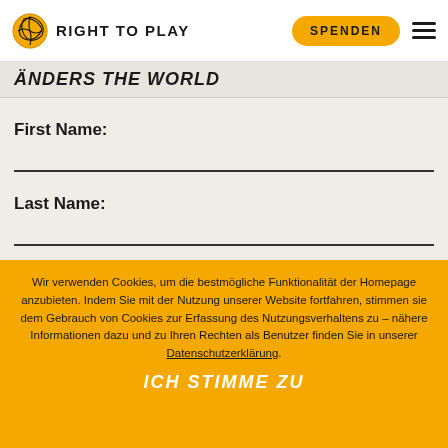RIGHT TO PLAY | SPENDEN
ÄNDERS THE WORLD
First Name:
Last Name:
Wir verwenden Cookies, um die bestmögliche Funktionalität der Homepage anzubieten. Indem Sie mit der Nutzung unserer Website fortfahren, stimmen sie dem Gebrauch von Cookies zur Erfassung des Nutzungsverhaltens zu – nähere Informationen dazu und zu Ihren Rechten als Benutzer finden Sie in unserer Datenschutzerklärung.
ICH STIMME ZU